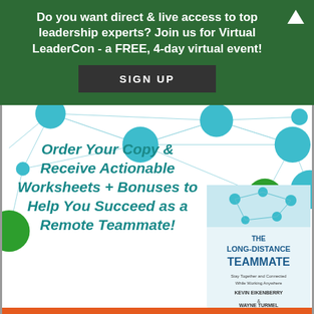Do you want direct & live access to top leadership experts? Join us for Virtual LeaderCon - a FREE, 4-day virtual event!
SIGN UP
[Figure (illustration): Advertisement for 'The Long-Distance Teammate' book by Kevin Eikenberry and Wayne Turmel. Features teal network nodes on a white background with text: 'Order Your Copy & Receive Actionable Worksheets + Bonuses to Help You Succeed as a Remote Teammate!' Book cover shown at bottom right. Orange button strip at bottom.]